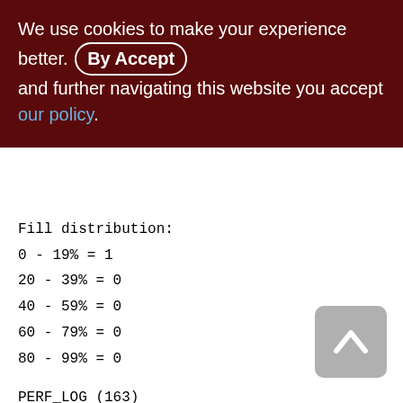We use cookies to make your experience better. By Accepting and further navigating this website you accept our policy.
Fill distribution:
0 - 19% = 1
20 - 39% = 0
40 - 59% = 0
60 - 79% = 0
80 - 99% = 0
PERF_LOG (163)
Primary pointer page: 352, Index root page: 353
Total formats: 1, used formats: 1
Average record length: 151.95, total